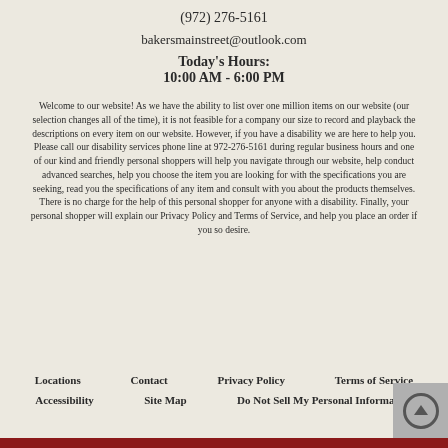(972) 276-5161
bakersmainstreet@outlook.com
Today's Hours:
10:00 AM - 6:00 PM
Welcome to our website! As we have the ability to list over one million items on our website (our selection changes all of the time), it is not feasible for a company our size to record and playback the descriptions on every item on our website. However, if you have a disability we are here to help you. Please call our disability services phone line at 972-276-5161 during regular business hours and one of our kind and friendly personal shoppers will help you navigate through our website, help conduct advanced searches, help you choose the item you are looking for with the specifications you are seeking, read you the specifications of any item and consult with you about the products themselves. There is no charge for the help of this personal shopper for anyone with a disability. Finally, your personal shopper will explain our Privacy Policy and Terms of Service, and help you place an order if you so desire.
Locations  Contact  Privacy Policy  Terms of Service  Accessibility  Site Map  Do Not Sell My Personal Information